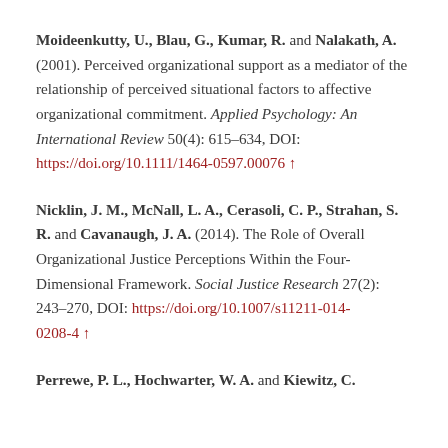Moideenkutty, U., Blau, G., Kumar, R. and Nalakath, A. (2001). Perceived organizational support as a mediator of the relationship of perceived situational factors to affective organizational commitment. Applied Psychology: An International Review 50(4): 615–634, DOI: https://doi.org/10.1111/1464-0597.00076 ↑
Nicklin, J. M., McNall, L. A., Cerasoli, C. P., Strahan, S. R. and Cavanaugh, J. A. (2014). The Role of Overall Organizational Justice Perceptions Within the Four-Dimensional Framework. Social Justice Research 27(2): 243–270, DOI: https://doi.org/10.1007/s11211-014-0208-4 ↑
Perrewe, P. L., Hochwarter, W. A. and Kiewitz, C.